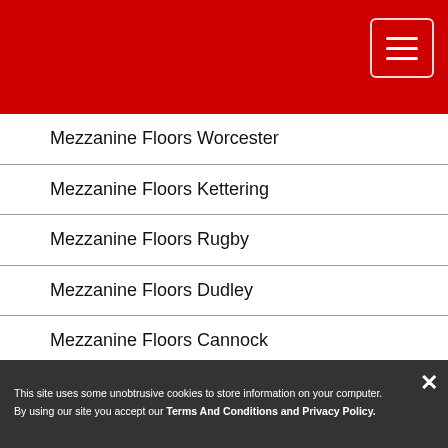Mezzanine Floors Worcester
Mezzanine Floors Kettering
Mezzanine Floors Rugby
Mezzanine Floors Dudley
Mezzanine Floors Cannock
Mezzanine Floors Nuneaton
Mezzanine Floors Warwick
Mezzanine Floors Banbury
Mezzanine Floors Kidderminster
This site uses some unobtrusive cookies to store information on your computer. By using our site you accept our Terms And Conditions and Privacy Policy.